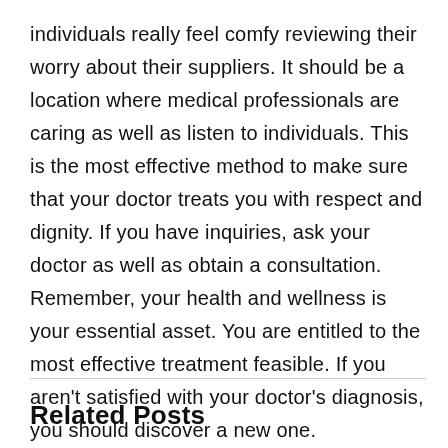individuals really feel comfy reviewing their worry about their suppliers. It should be a location where medical professionals are caring as well as listen to individuals. This is the most effective method to make sure that your doctor treats you with respect and dignity. If you have inquiries, ask your doctor as well as obtain a consultation. Remember, your health and wellness is your essential asset. You are entitled to the most effective treatment feasible. If you aren't satisfied with your doctor's diagnosis, you should discover a new one.
Related Posts